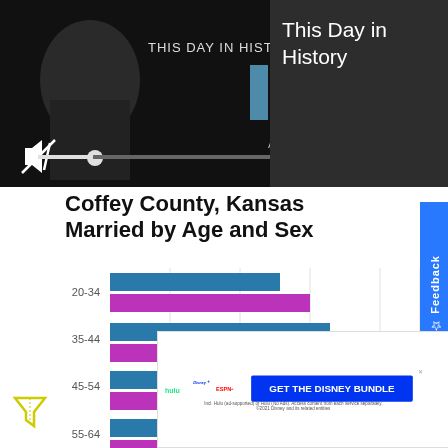[Figure (screenshot): Video player showing 'This Day in History' with play controls, mute icon, seek bar, and fullscreen button on dark background]
This Day in History
Coffey County, Kansas Married by Age and Sex
[Figure (bar-chart): Coffey County, Kansas Married by Age and Sex]
[Figure (advertisement): Disney Bundle ad: hulu, Disney+, ESPN+. GET THE DISNEY BUNDLE. Incl. Hulu (ad-supported) or Hulu (No Ads). Access content from each service separately. ©2021 Disney and its related entities]